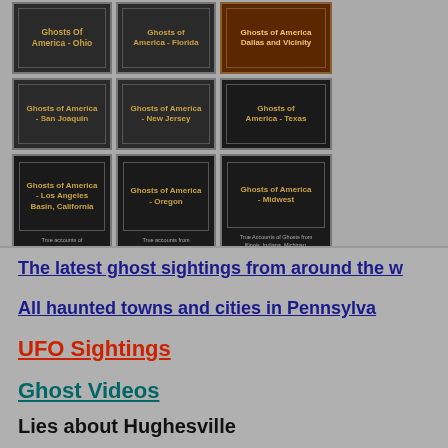[Figure (illustration): Grid of book covers for 'Ghosts of America' series including Ohio, San Joaquin, Los Angeles Basin California, Florida, New Jersey, Oregon, Dallas and Vicinity, Texas, and Midwest editions]
The latest ghost sightings from around the w...
All haunted towns and cities in Pennsylva...
UFO Sightings
Ghost Videos
Lies about Hughesville